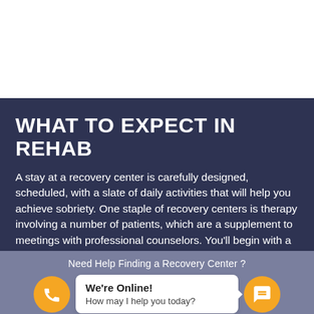WHAT TO EXPECT IN REHAB
A stay at a recovery center is carefully designed, scheduled, with a slate of daily activities that will help you achieve sobriety. One staple of recovery centers is therapy involving a number of patients, which are a supplement to meetings with professional counselors. You'll begin with a diagnosis of your particular symptoms situation,
Need Help Finding a Recovery Center ?
We're Online! How may I help you today?